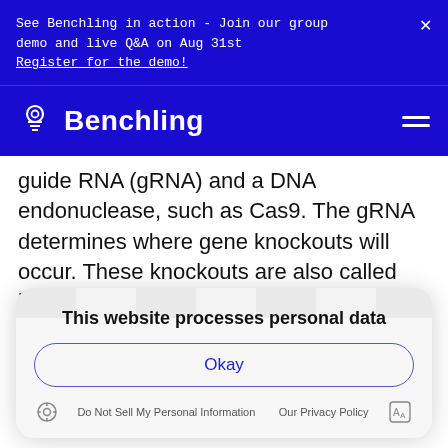See Benchling in action - Join our group demo and live Q&A on Aug 31st
Register for the demo!
Benchling [navbar with logo and hamburger menu]
guide RNA (gRNA) and a DNA endonuclease, such as Cas9. The gRNA determines where gene knockouts will occur. These knockouts are also called insertions or deletions (indels). Once the
This website processes personal data
Okay
Do Not Sell My Personal Information   Our Privacy Policy